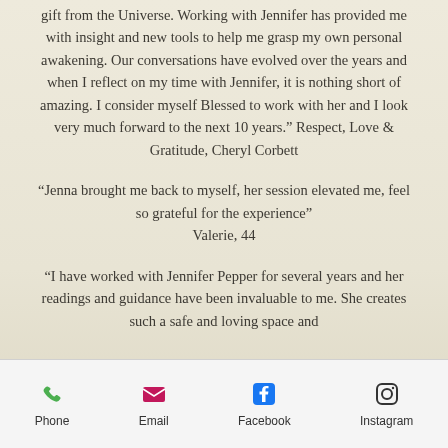gift from the Universe. Working with Jennifer has provided me with insight and new tools to help me grasp my own personal awakening. Our conversations have evolved over the years and when I reflect on my time with Jennifer, it is nothing short of amazing. I consider myself Blessed to work with her and I look very much forward to the next 10 years." Respect, Love & Gratitude, Cheryl Corbett
"Jenna brought me back to myself, her session elevated me, feel so grateful for the experience" Valerie, 44
"I have worked with Jennifer Pepper for several years and her readings and guidance have been invaluable to me. She creates such a safe and loving space and
Phone  Email  Facebook  Instagram